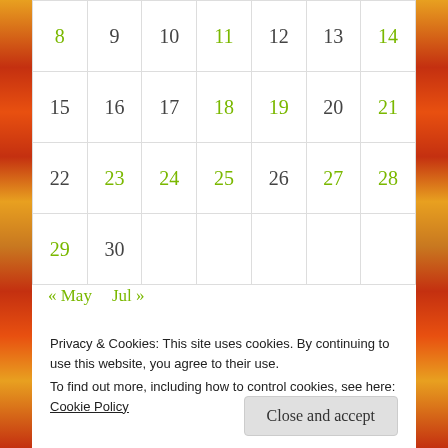| Sun | Mon | Tue | Wed | Thu | Fri | Sat |
| --- | --- | --- | --- | --- | --- | --- |
| 8 | 9 | 10 | 11 | 12 | 13 | 14 |
| 15 | 16 | 17 | 18 | 19 | 20 | 21 |
| 22 | 23 | 24 | 25 | 26 | 27 | 28 |
| 29 | 30 |  |  |  |  |  |
« May   Jul »
Privacy & Cookies: This site uses cookies. By continuing to use this website, you agree to their use.
To find out more, including how to control cookies, see here: Cookie Policy
Close and accept